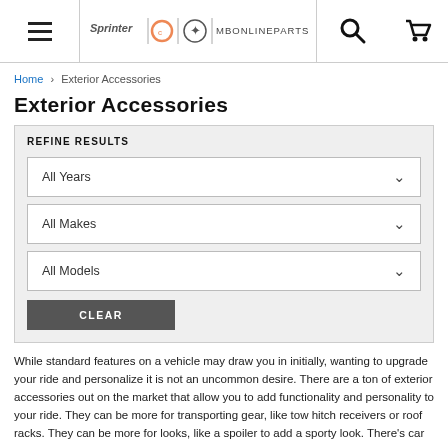Sprinter | smart | Mercedes-Benz | MBONLINEPARTS — navigation header with search and cart
Home > Exterior Accessories
Exterior Accessories
REFINE RESULTS
All Years
All Makes
All Models
CLEAR
While standard features on a vehicle may draw you in initially, wanting to upgrade your ride and personalize it is not an uncommon desire. There are a ton of exterior accessories out on the market that allow you to add functionality and personality to your ride. They can be more for transporting gear, like tow hitch receivers or roof racks. They can be more for looks, like a spoiler to add a sporty look. There's car covers,